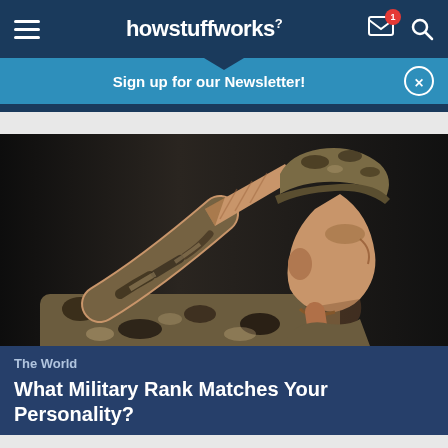howstuffworks
Sign up for our Newsletter!
[Figure (photo): A soldier in camouflage uniform saluting, photographed from the side. The soldier's hand is raised in a salute near the brim of a camouflage cap. Dark background.]
The World
What Military Rank Matches Your Personality?